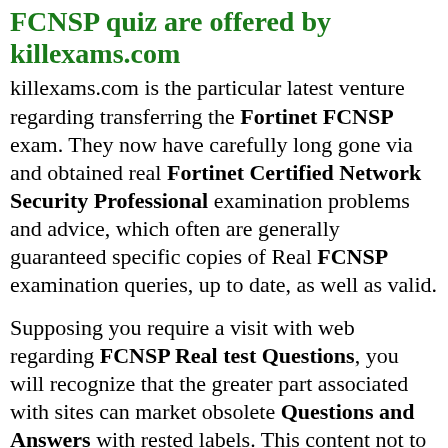FCNSP quiz are offered by killexams.com
killexams.com is the particular latest venture regarding transferring the Fortinet FCNSP exam. They now have carefully long gone via and obtained real Fortinet Certified Network Security Professional examination problems and advice, which often are generally guaranteed specific copies of Real FCNSP examination queries, up to date, as well as valid.
Supposing you require a visit with web regarding FCNSP Real test Questions, you will recognize that the greater part associated with sites can market obsolete Questions and Answers with rested labels. This content not to be known area of...